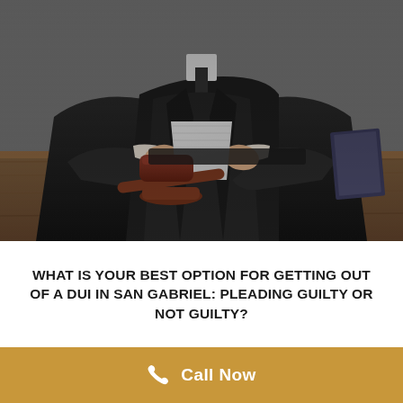[Figure (photo): A judge in black robes sits at a wooden desk, reading papers with a wooden gavel in front of them. The image has a dark, muted tone.]
WHAT IS YOUR BEST OPTION FOR GETTING OUT OF A DUI IN SAN GABRIEL: PLEADING GUILTY OR NOT GUILTY?
Call Now